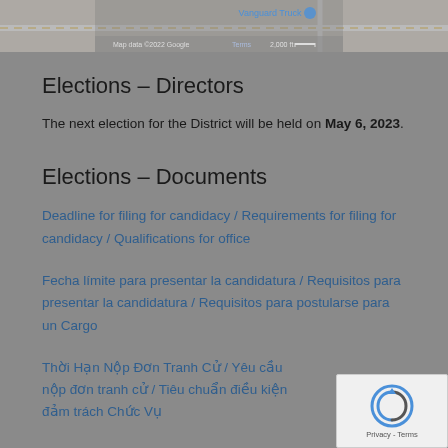[Figure (screenshot): Top portion of a Google Maps embed showing Vanguard Truck location with map data copyright 2022 Google, Terms, 2,000 ft scale.]
Elections – Directors
The next election for the District will be held on May 6, 2023.
Elections – Documents
Deadline for filing for candidacy / Requirements for filing for candidacy / Qualifications for office
Fecha límite para presentar la candidatura / Requisitos para presentar la candidatura / Requisitos para postularse para un Cargo
Thời Hạn Nộp Đơn Tranh Cử / Yêu cầu nộp đơn tranh cử / Tiêu chuẩn điều kiện đảm trách Chức Vụ